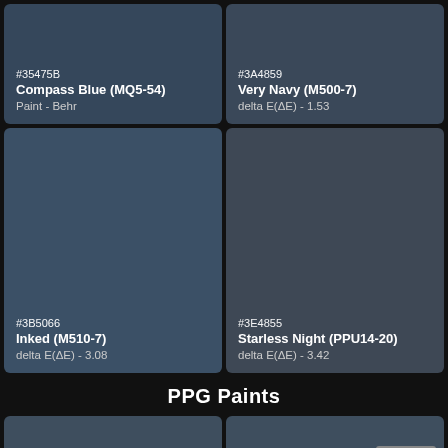[Figure (infographic): Color swatch card: hex #35475B, Compass Blue (MQ5-54), Paint - Behr]
[Figure (infographic): Color swatch card: hex #3A4859, Very Navy (M500-7), delta E(ΔE) - 1.53]
[Figure (infographic): Color swatch card: hex #3B5066, Inked (M510-7), delta E(ΔE) - 3.08]
[Figure (infographic): Color swatch card: hex #3E4855, Starless Night (PPU14-20), delta E(ΔE) - 3.42]
PPG Paints
[Figure (infographic): Color swatch card bottom left (PPG Paints section), partial view]
[Figure (infographic): Color swatch card bottom right with CLOSE button (PPG Paints section)]